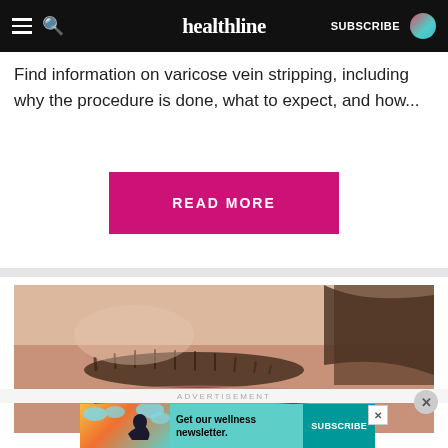healthline  SUBSCRIBE
Find information on varicose vein stripping, including why the procedure is done, what to expect, and how...
READ MORE
[Figure (photo): Close-up photo of a person's eye and eyebrow area]
ADVERTISEMENT
[Figure (screenshot): Advertisement banner: Get our wellness newsletter. SUBSCRIBE button. Features illustration of woman with colorful background.]